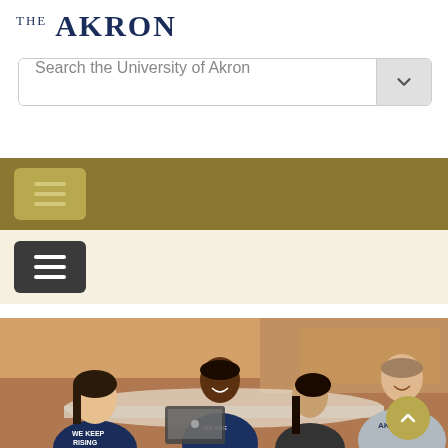[Figure (logo): University of Akron logo/wordmark in dark navy serif font]
Search the University of Akron
[Figure (screenshot): Gold/olive navigation bar with hamburger menu button (three horizontal lines on lighter gold background)]
[Figure (screenshot): Light cream navigation bar with dark charcoal hamburger menu button (three horizontal lines)]
[Figure (photo): Four college students sitting around a table laughing and talking. One student wears a shirt reading 'WE KEEP RISING', another wears a 'WE ARE' University of Akron shirt, and one wears an 'AKRON' hoodie. A laptop is open on the table.]